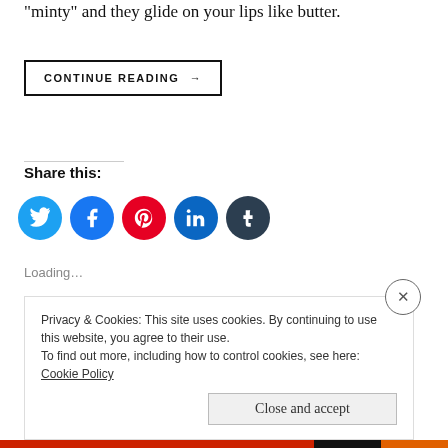“minty” and they glide on your lips like butter.
CONTINUE READING →
Share this:
[Figure (infographic): Five social media icon circles: Twitter (light blue), Facebook (blue), Pinterest (red), LinkedIn (teal blue), Tumblr (dark navy)]
Loading…
Privacy & Cookies: This site uses cookies. By continuing to use this website, you agree to their use.
To find out more, including how to control cookies, see here: Cookie Policy
Close and accept